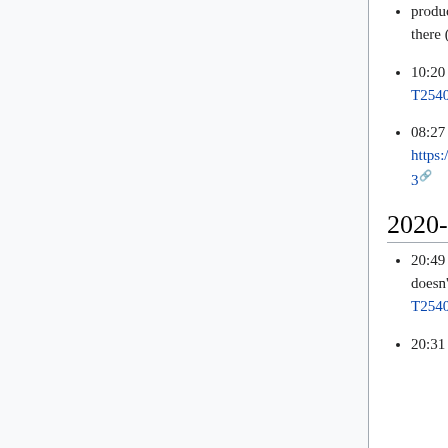production branches on wikidata/query/gui-deploy, production should not have been deleted there (T254027)
10:20 Lucas_WMDE: wikidata/query/gui: deleted deploy and production branches, cf. T254027
08:27 legoktm: reload zuul config for https://gerrit.wikimedia.org/r/600403
2020-06-01
20:49 James_F: Zuul: Disabled new mediawiki-quibble-apitests-vendor-docker for Math as it doesn't pass T254031
20:31 James_F: Zuul: EventBus now depends on EventStreamConfig for